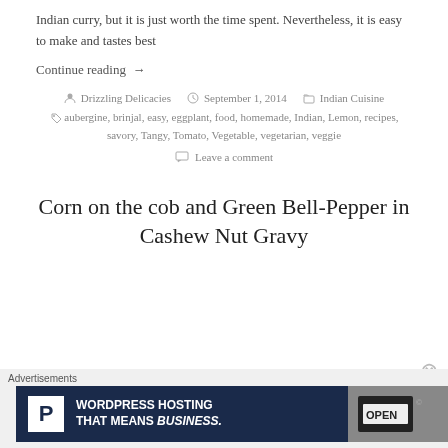Indian curry, but it is just worth the time spent. Nevertheless, it is easy to make and tastes best
Continue reading →
Drizzling Delicacies   September 1, 2014   Indian Cuisine
aubergine, brinjal, easy, eggplant, food, homemade, Indian, Lemon, recipes, savory, Tangy, Tomato, Vegetable, vegetarian, veggie
Leave a comment
Corn on the cob and Green Bell-Pepper in Cashew Nut Gravy
Advertisements
[Figure (screenshot): WordPress Hosting advertisement banner with 'P' logo and 'WORDPRESS HOSTING THAT MEANS BUSINESS.' text alongside an OPEN sign photo]